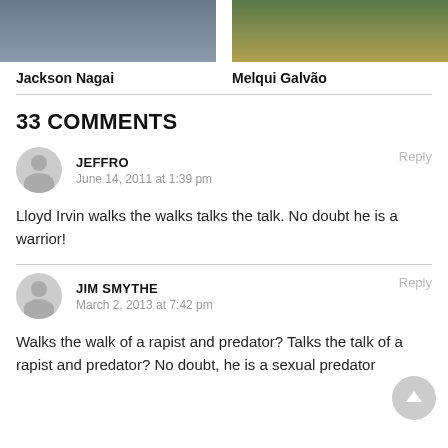[Figure (photo): Photo of Jackson Nagai in blue gi at a martial arts event]
[Figure (photo): Photo of Melqui Galvão at a martial arts event with yellow and blue background]
Jackson Nagai
Melqui Galvão
33 COMMENTS
JEFFRO
June 14, 2011 at 1:39 pm
Lloyd Irvin walks the walks talks the talk. No doubt he is a warrior!
JIM SMYTHE
March 2, 2013 at 7:42 pm
Walks the walk of a rapist and predator? Talks the talk of a rapist and predator? No doubt, he is a sexual predator